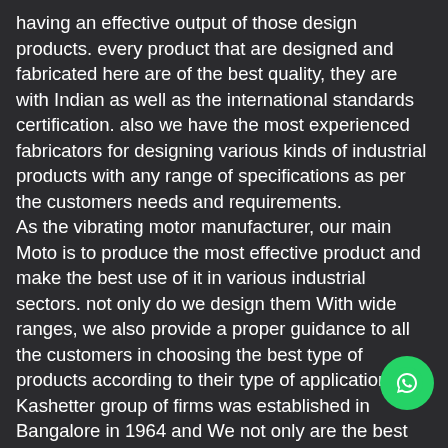having an effective output of those design products. every product that are designed and fabricated here are of the best quality, they are with Indian as well as the international standards certification. also we have the most experienced fabricators for designing various kinds of industrial products with any range of specifications as per the customers needs and requirements. As the vibrating motor manufacturer, our main Moto is to produce the most effective product and make the best use of it in various industrial sectors. not only do we design them With wide ranges, we also provide a proper guidance to all the customers in choosing the best type of products according to their type of application. Kashetter group of firms was established in Bangalore in 1964 and We not only are the best vibrating motor manufacturer in Bangalore, we have b considered as one of the best